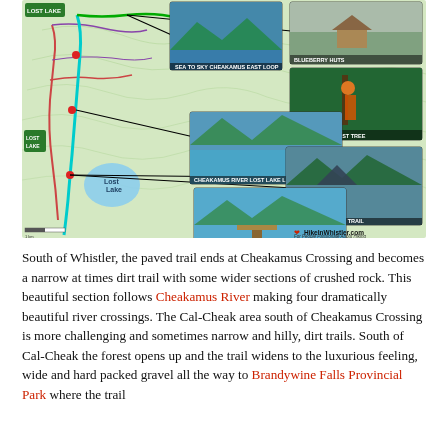[Figure (map): Trail map of Whistler area showing Lost Lake, Cheakamus River area trails, with inset photos of: Sea to Sky Cheakamus East Loop, Blueberry Huts, Cheakamus River Lost Lake Loop, Parkhurst Ghost Tree, Lost Lake (dock photo), Askery Lake Loop Trail. HikeInWhistler.com logo bottom right.]
South of Whistler, the paved trail ends at Cheakamus Crossing and becomes a narrow at times dirt trail with some wider sections of crushed rock. This beautiful section follows Cheakamus River making four dramatically beautiful river crossings. The Cal-Cheak area south of Cheakamus Crossing is more challenging and sometimes narrow and hilly, dirt trails. South of Cal-Cheak the forest opens up and the trail widens to the luxurious feeling, wide and hard packed gravel all the way to Brandywine Falls Provincial Park where the trail